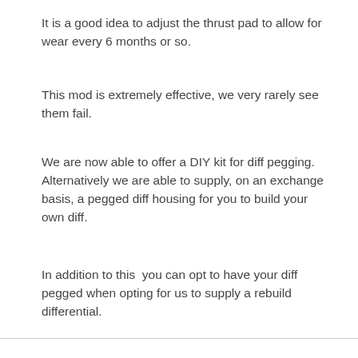It is a good idea to adjust the thrust pad to allow for wear every 6 months or so.
This mod is extremely effective, we very rarely see them fail.
We are now able to offer a DIY kit for diff pegging. Alternatively we are able to supply, on an exchange basis, a pegged diff housing for you to build your own diff.
In addition to this you can opt to have your diff pegged when opting for us to supply a rebuild differential.
We use cookies on our website to give you the most relevant experience by remembering your preferences and repeat visits. By clicking “Accept All”, you consent to the use of cookies.
Accept All